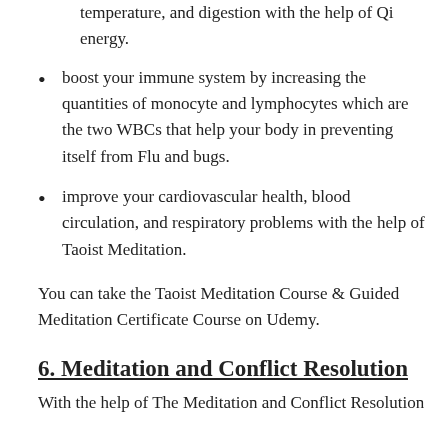temperature, and digestion with the help of Qi energy.
boost your immune system by increasing the quantities of monocyte and lymphocytes which are the two WBCs that help your body in preventing itself from Flu and bugs.
improve your cardiovascular health, blood circulation, and respiratory problems with the help of Taoist Meditation.
You can take the Taoist Meditation Course & Guided Meditation Certificate Course on Udemy.
6. Meditation and Conflict Resolution
With the help of The Meditation and Conflict Resolution